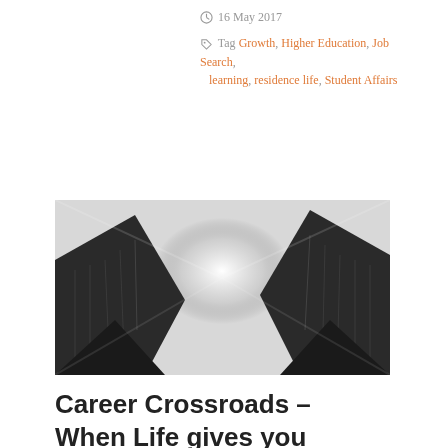16 May 2017
Tag Growth, Higher Education, Job Search, learning, residence life, Student Affairs
[Figure (photo): Upward-looking view of tall skyscrapers converging toward a bright sky, black and white tones]
Career Crossroads – When Life gives you Lemons, Make